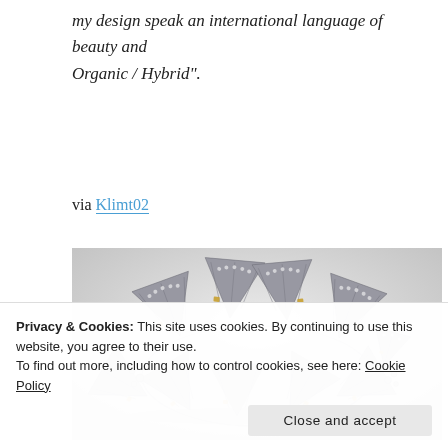my design speak an international language of beauty and Organic / Hybrid".
via Klimt02
[Figure (photo): A silver and gold metallic necklace or crown made of fan-shaped folded metal elements arranged in a circular pattern, photographed against a light gray background.]
Privacy & Cookies: This site uses cookies. By continuing to use this website, you agree to their use. To find out more, including how to control cookies, see here: Cookie Policy
Close and accept